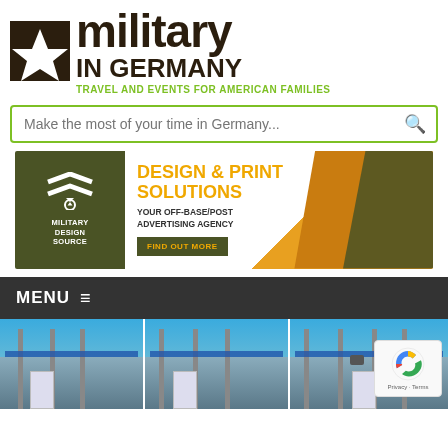[Figure (logo): Military in Germany logo with star icon and text 'military IN GERMANY' and tagline 'TRAVEL AND EVENTS FOR AMERICAN FAMILIES']
Make the most of your time in Germany...
[Figure (infographic): Advertisement for Military Design Source: 'DESIGN & PRINT SOLUTIONS - YOUR OFF-BASE/POST ADVERTISING AGENCY - FIND OUT MORE']
MENU
[Figure (photo): Photo strip showing toll booths or barrier gates at what appears to be a German highway or entry point]